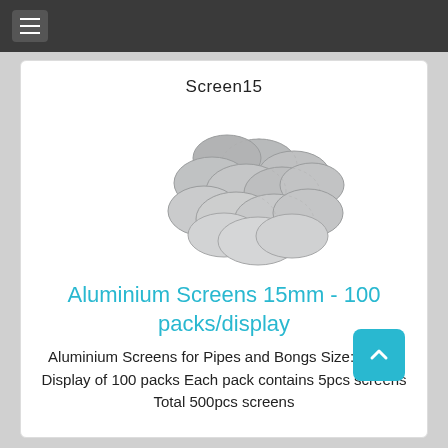≡
Screen15
[Figure (photo): A pile of small round aluminium mesh screens, approximately 15mm in diameter, stacked loosely together on a white background.]
Aluminium Screens 15mm - 100 packs/display
Aluminium Screens for Pipes and Bongs Size: 15mm Display of 100 packs Each pack contains 5pcs screens Total 500pcs screens